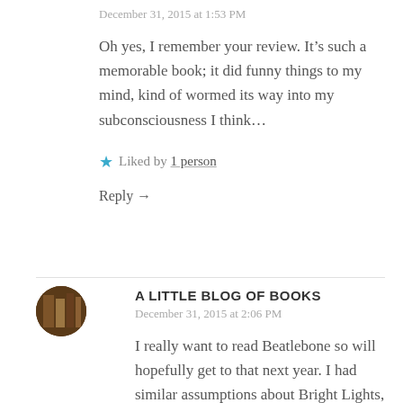December 31, 2015 at 1:53 PM
Oh yes, I remember your review. It’s such a memorable book; it did funny things to my mind, kind of wormed its way into my subconsciousness I think…
★ Liked by 1 person
Reply →
A LITTLE BLOG OF BOOKS
December 31, 2015 at 2:06 PM
I really want to read Beatlebone so will hopefully get to that next year. I had similar assumptions about Bright Lights, Big City being a “drugs” novel but your